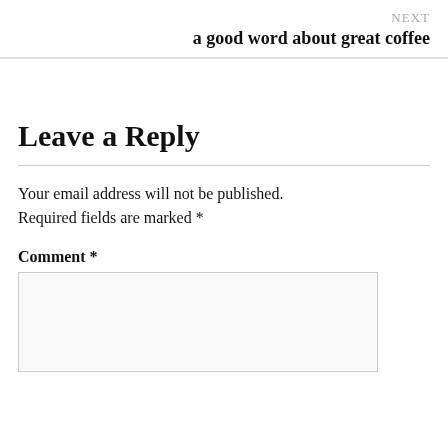NEXT
a good word about great coffee
Leave a Reply
Your email address will not be published. Required fields are marked *
Comment *